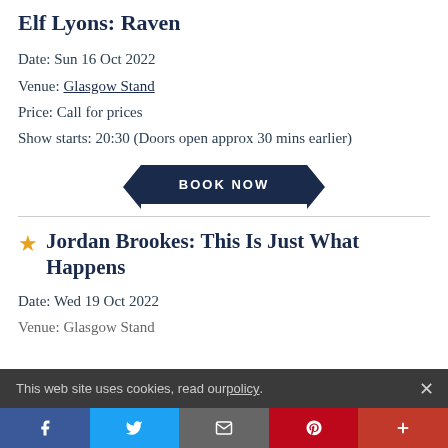Elf Lyons: Raven
Date: Sun 16 Oct 2022
Venue: Glasgow Stand
Price: Call for prices
Show starts: 20:30 (Doors open approx 30 mins earlier)
[Figure (other): BOOK NOW button banner in dark navy blue with chevron/ribbon style side cuts]
Jordan Brookes: This Is Just What Happens
Date: Wed 19 Oct 2022
Venue: Glasgow Stand
This web site uses cookies, read our policy.